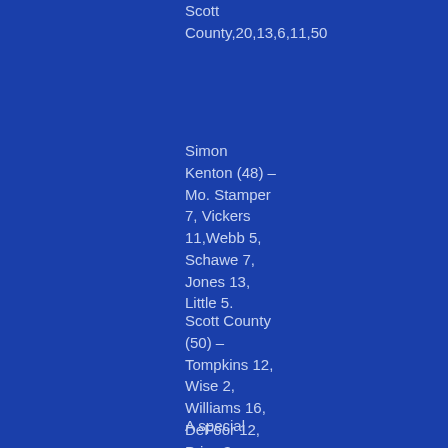Scott County,20,13,6,11,50
Simon Kenton (48) – Mo. Stamper 7, Vickers 11,Webb 5, Schawe 7, Jones 13, Little 5.
Scott County (50) – Tompkins 12, Wise 2, Williams 16, DeFoor 12, Price 3, Young 2, Owens 1, Kenney 2.
A special